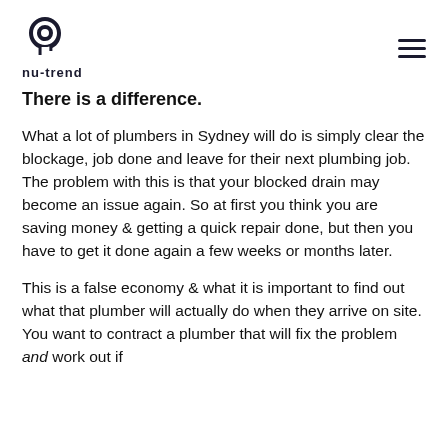nu-trend
There is a difference.
What a lot of plumbers in Sydney will do is simply clear the blockage, job done and leave for their next plumbing job. The problem with this is that your blocked drain may become an issue again. So at first you think you are saving money & getting a quick repair done, but then you have to get it done again a few weeks or months later.
This is a false economy & what it is important to find out what that plumber will actually do when they arrive on site. You want to contract a plumber that will fix the problem and work out if